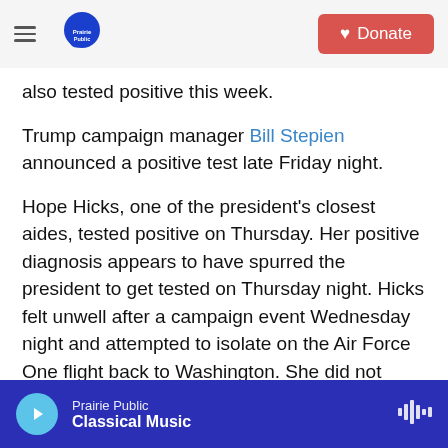Prairie Public | Donate
also tested positive this week.
Trump campaign manager Bill Stepien announced a positive test late Friday night.
Hope Hicks, one of the president's closest aides, tested positive on Thursday. Her positive diagnosis appears to have spurred the president to get tested on Thursday night. Hicks felt unwell after a campaign event Wednesday night and attempted to isolate on the Air Force One flight back to Washington. She did not attend the Rose Garden event.
Prairie Public | Classical Music